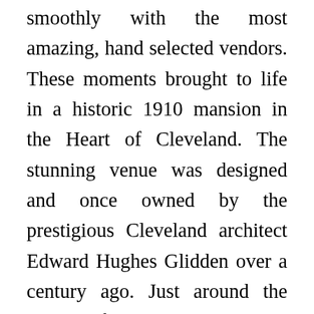smoothly with the most amazing, hand selected vendors. These moments brought to life in a historic 1910 mansion in the Heart of Cleveland. The stunning venue was designed and once owned by the prestigious Cleveland architect Edward Hughes Glidden over a century ago. Just around the corner from the Cleveland Museum of Art and University circle this mansion is adorned with red brick and stunning gothic architecture. As soon as you set foot inside you are transported to a world full of love